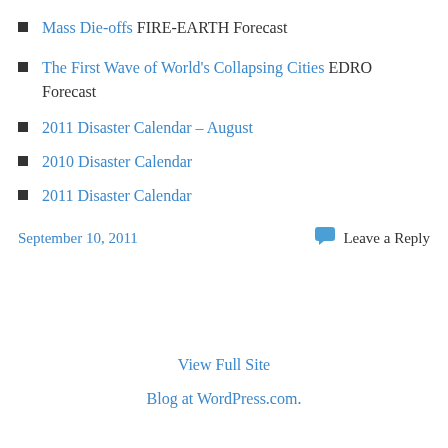Mass Die-offs FIRE-EARTH Forecast
The First Wave of World's Collapsing Cities EDRO Forecast
2011 Disaster Calendar – August
2010 Disaster Calendar
2011 Disaster Calendar
September 10, 2011
Leave a Reply
View Full Site
Blog at WordPress.com.